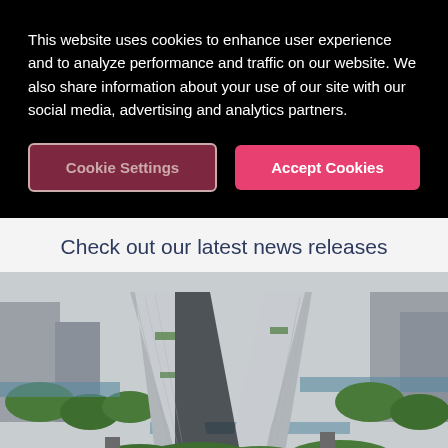This website uses cookies to enhance user experience and to analyze performance and traffic on our website. We also share information about your use of our site with our social media, advertising and analytics partners.
[Figure (screenshot): Two buttons: 'Cookie Settings' (dark red/maroon with border) and 'Accept Cookies' (pink/red solid)]
Check out our latest news releases
[Figure (photo): Aerial view of modern city buildings with distinctive V-shaped skyscrapers surrounded by greenery and waterways]